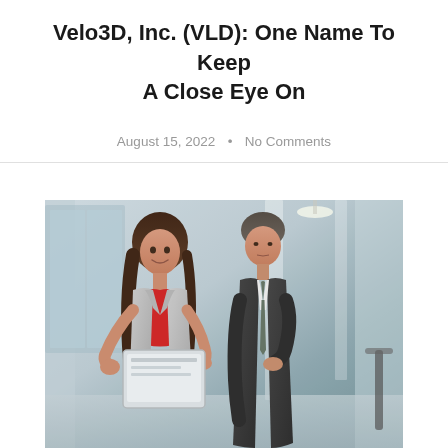Velo3D, Inc. (VLD): One Name To Keep A Close Eye On
August 15, 2022 • No Comments
[Figure (photo): Two business professionals (a woman in a grey blazer with red top and a man in a dark suit) looking at a tablet together in a modern office lobby setting.]